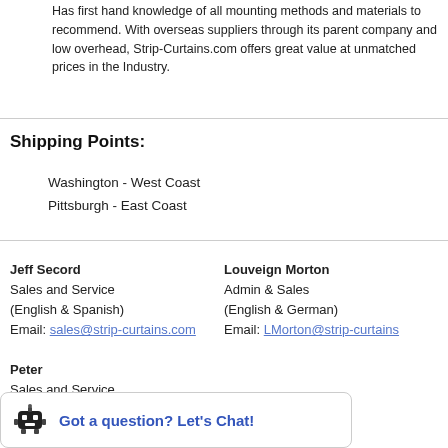Has first hand knowledge of all mounting methods and materials to recommend. With overseas suppliers through its parent company and low overhead, Strip-Curtains.com offers great value at unmatched prices in the Industry.
Shipping Points:
Washington - West Coast
Pittsburgh - East Coast
Jeff Secord
Sales and Service
(English & Spanish)
Email: sales@strip-curtains.com
Louveign Morton
Admin & Sales
(English & German)
Email: LMorton@strip-curtains.com
Peter
Sales and Service
(English & Mandarin)
Email: sales@strip-curtains.com
Got a question? Let's Chat!